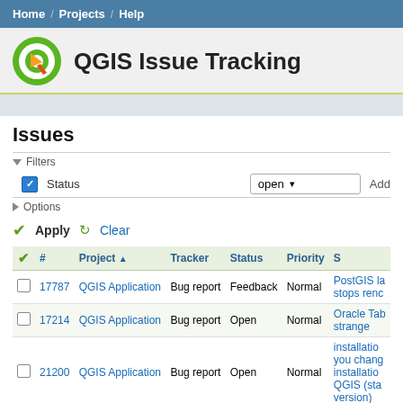Home / Projects / Help
QGIS Issue Tracking
Issues
Filters - Status: open | Options | Apply | Clear
| ✓ | # | Project ▲ | Tracker | Status | Priority | S… |
| --- | --- | --- | --- | --- | --- | --- |
| ☐ | 17787 | QGIS Application | Bug report | Feedback | Normal | PostGIS la… stops renc… |
| ☐ | 17214 | QGIS Application | Bug report | Open | Normal | Oracle Tab… strange |
| ☐ | 21200 | QGIS Application | Bug report | Open | Normal | installatio… you chang… installatio… QGIS (sta… version) |
| ☐ | 21574 | QGIS Application | Bug report | Feedback | Normal | crash whi… |